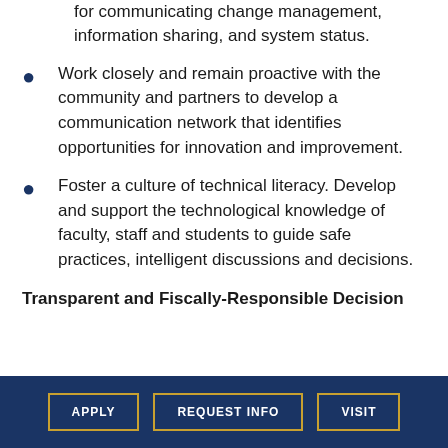for communicating change management, information sharing, and system status.
Work closely and remain proactive with the community and partners to develop a communication network that identifies opportunities for innovation and improvement.
Foster a culture of technical literacy. Develop and support the technological knowledge of faculty, staff and students to guide safe practices, intelligent discussions and decisions.
Transparent and Fiscally-Responsible Decision
APPLY   REQUEST INFO   VISIT